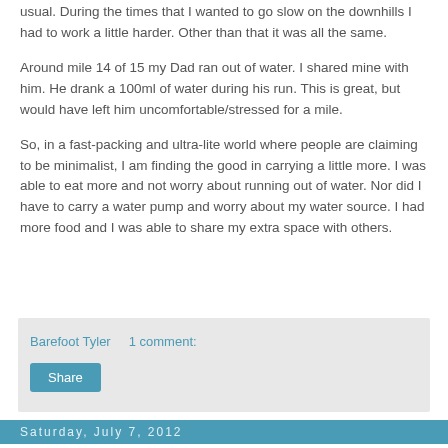usual. During the times that I wanted to go slow on the downhills I had to work a little harder. Other than that it was all the same.
Around mile 14 of 15 my Dad ran out of water. I shared mine with him. He drank a 100ml of water during his run. This is great, but would have left him uncomfortable/stressed for a mile.
So, in a fast-packing and ultra-lite world where people are claiming to be minimalist, I am finding the good in carrying a little more. I was able to eat more and not worry about running out of water. Nor did I have to carry a water pump and worry about my water source. I had more food and I was able to share my extra space with others.
Barefoot Tyler    1 comment:
Share
Saturday, July 7, 2012